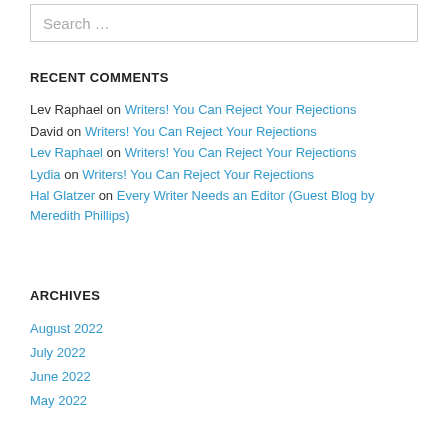Search …
RECENT COMMENTS
Lev Raphael on Writers! You Can Reject Your Rejections
David on Writers! You Can Reject Your Rejections
Lev Raphael on Writers! You Can Reject Your Rejections
Lydia on Writers! You Can Reject Your Rejections
Hal Glatzer on Every Writer Needs an Editor (Guest Blog by Meredith Phillips)
ARCHIVES
August 2022
July 2022
June 2022
May 2022